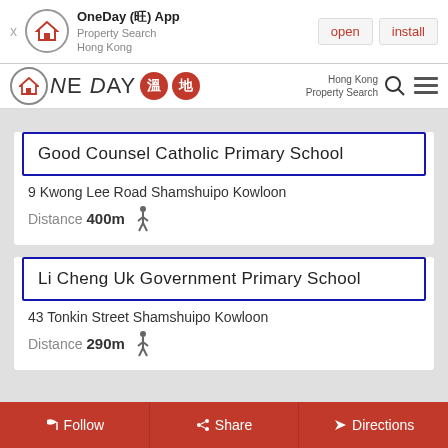[Figure (screenshot): App install banner for OneDay (旺) App - Property Search Hong Kong, with open and install buttons]
[Figure (logo): OneDay 溫地 logo with house icon and red circular Chinese character badges]
Good Counsel Catholic Primary School
9 Kwong Lee Road Shamshuipo Kowloon
Distance 400m
Li Cheng Uk Government Primary School
43 Tonkin Street Shamshuipo Kowloon
Distance 290m
Follow  Share  Directions